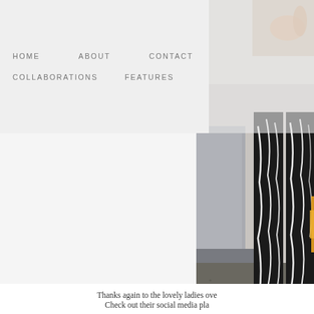HOME   ABOUT   CONTACT   COLLABORATIONS   FEATURES
[Figure (photo): Close-up photo of a person's legs wearing black and white patterned trousers and white high-heeled sandals, standing on a pavement/street surface near a concrete step. A gold/yellow upward chevron arrow is visible at the bottom of the image.]
Thanks again to the lovely ladies ove
Check out their social media pla